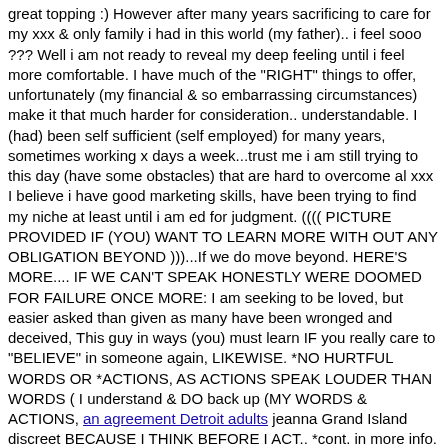great topping :) However after many years sacrificing to care for my xxx & only family i had in this world (my father).. i feel sooo ??? Well i am not ready to reveal my deep feeling until i feel more comfortable. I have much of the "RIGHT" things to offer, unfortunately (my financial & so embarrassing circumstances) make it that much harder for consideration.. understandable. I (had) been self sufficient (self employed) for many years, sometimes working x days a week...trust me i am still trying to this day (have some obstacles) that are hard to overcome al xxx I believe i have good marketing skills, have been trying to find my niche at least until i am ed for judgment. (((( PICTURE PROVIDED IF (YOU) WANT TO LEARN MORE WITH OUT ANY OBLIGATION BEYOND )))...If we do move beyond. HERE'S MORE.... IF WE CAN'T SPEAK HONESTLY WERE DOOMED FOR FAILURE ONCE MORE: I am seeking to be loved, but easier asked than given as many have been wronged and deceived, This guy in ways (you) must learn IF you really care to "BELIEVE" in someone again, LIKEWISE. *NO HURTFUL WORDS OR *ACTIONS, AS ACTIONS SPEAK LOUDER THAN WORDS ( I understand & DO back up (MY WORDS & ACTIONS, an agreement Detroit adults jeanna Grand Island discreet BECAUSE I THINK BEFORE I ACT.. *cont. in more info. if we get further along). Lets see how far down this page you will get by me speaking frankly to the point, for those that will give me a fleeting glance. There are many more men in a better place than Robert, but do they have my qualities, loyal, respectful, honest to a fault, low key, (no) criminal record (no) duis, what about character?, it seems never enough. THE SONG BY